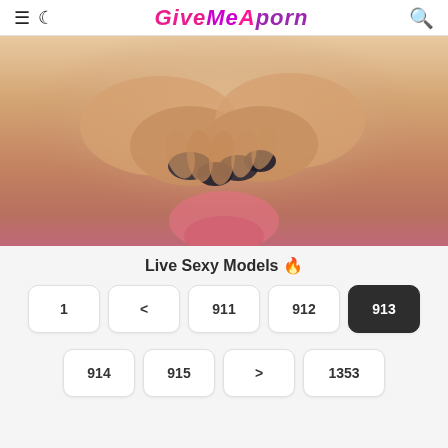GiveMeAPorn
[Figure (photo): Close-up photo with hands and dark painted nails]
Live Sexy Models 🔥
Pagination: 1, <, 911, 912, 913 (active), 914, 915, >, 1353